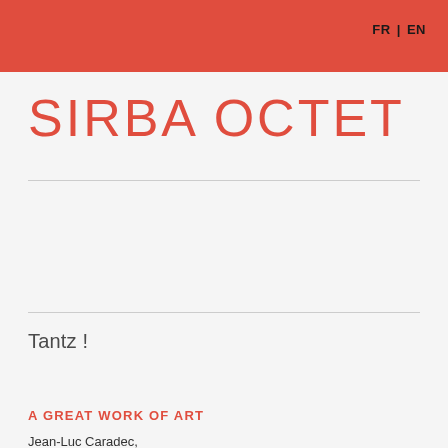FR | EN
SIRBA OCTET
Tantz !
A GREAT WORK OF ART
Jean-Luc Caradec,
La Terrasse, november 2015